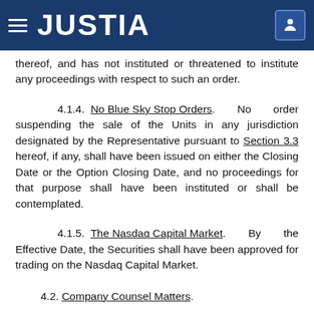JUSTIA
thereof, and has not instituted or threatened to institute any proceedings with respect to such an order.
4.1.4. No Blue Sky Stop Orders. No order suspending the sale of the Units in any jurisdiction designated by the Representative pursuant to Section 3.3 hereof, if any, shall have been issued on either the Closing Date or the Option Closing Date, and no proceedings for that purpose shall have been instituted or shall be contemplated.
4.1.5. The Nasdaq Capital Market. By the Effective Date, the Securities shall have been approved for trading on the Nasdaq Capital Market.
4.2. Company Counsel Matters.